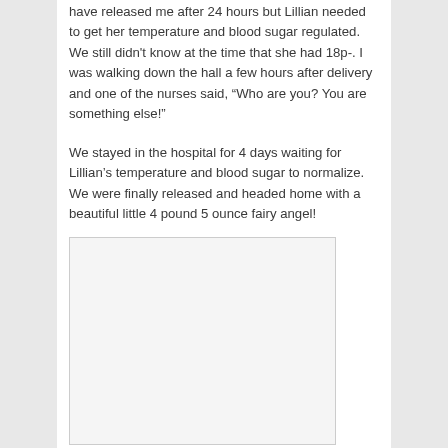have released me after 24 hours but Lillian needed to get her temperature and blood sugar regulated. We still didn't know at the time that she had 18p-. I was walking down the hall a few hours after delivery and one of the nurses said, “Who are you? You are something else!”
We stayed in the hospital for 4 days waiting for Lillian’s temperature and blood sugar to normalize. We were finally released and headed home with a beautiful little 4 pound 5 ounce fairy angel!
[Figure (photo): A photograph (placeholder box) showing an image related to the story about Lillian.]